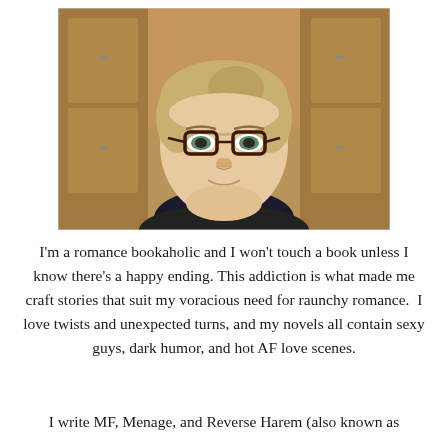[Figure (photo): A woman with glasses, blonde hair pulled back, wearing a dark top, smiling slightly at the camera. Background shows wooden furniture.]
I'm a romance bookaholic and I won't touch a book unless I know there's a happy ending. This addiction is what made me craft stories that suit my voracious need for raunchy romance.  I love twists and unexpected turns, and my novels all contain sexy guys, dark humor, and hot AF love scenes.
I write MF, Menage, and Reverse Harem (also known as